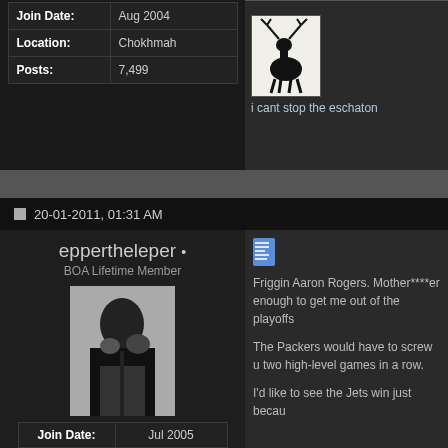| Label | Value |
| --- | --- |
| Join Date: | Aug 2004 |
| Location: | Chokhmah |
| Posts: | 7,499 |
[Figure (illustration): Small black and white avatar image of a deer/stag silhouette]
i cant stop the eschaton
20-01-2011, 01:31 AM
eppertheleper •
BOA Lifetime Member
[Figure (photo): Black and white photo of a person]
| Label | Value |
| --- | --- |
| Join Date: | Jul 2005 |
| Location: | The Great Plains |
| Posts: | 2,366 |
[Figure (illustration): Blue document/page icon]
Friggin Aaron Rogers. Mother****er enough to get me out of the playoffs
The Packers would have to screw u two high-level games in a row.
I'd like to see the Jets win just becau